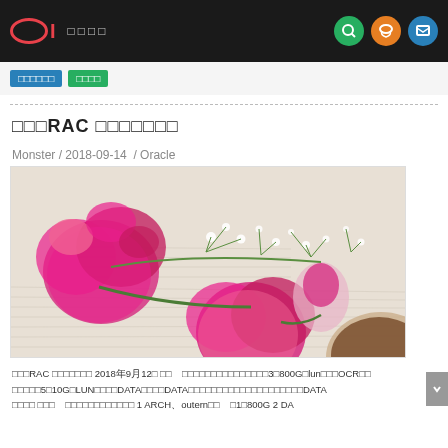OI 网站名称
数据库技术 Oracle
模拟RAC 环境迁移实施
Monster / 2018-09-14  / Oracle
[Figure (photo): Pink carnation flowers on sheet music with a cup of coffee]
模拟RAC 环境迁移实施 2018年9月12日 某某 公司迁移存储，新存储分配了3块800G的lun用于OCR和DATA，每块大小5和10G，LUN分配到DATA，新旧DATA的大小不一样，所以磁盘扩展迁移的时候DATA数据...  1 ARCH、outern等  共1块800G 2 DA